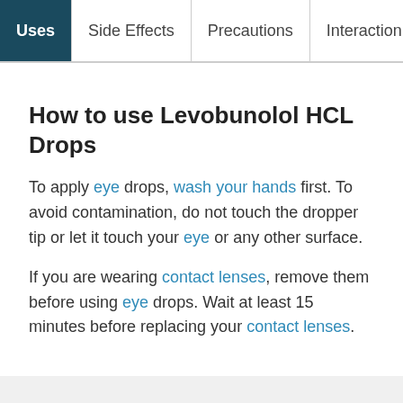Uses | Side Effects | Precautions | Interactions
How to use Levobunolol HCL Drops
To apply eye drops, wash your hands first. To avoid contamination, do not touch the dropper tip or let it touch your eye or any other surface.
If you are wearing contact lenses, remove them before using eye drops. Wait at least 15 minutes before replacing your contact lenses.